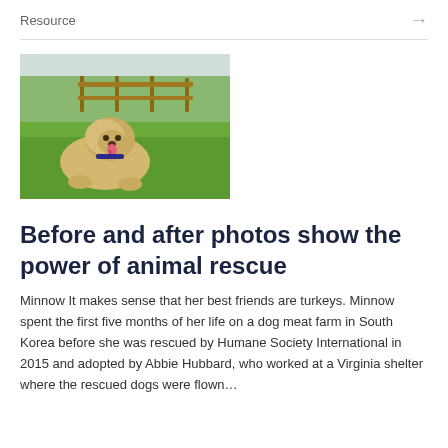Resource →
[Figure (photo): A fluffy light-colored dog lying on green grass with a wooden fence in the background]
Before and after photos show the power of animal rescue
Minnow It makes sense that her best friends are turkeys. Minnow spent the first five months of her life on a dog meat farm in South Korea before she was rescued by Humane Society International in 2015 and adopted by Abbie Hubbard, who worked at a Virginia shelter where the rescued dogs were flown…